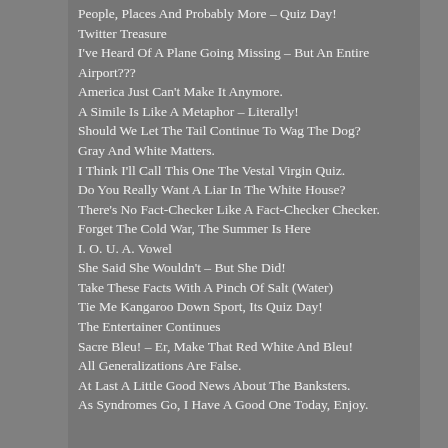People, Places And Probably More – Quiz Day!
Twitter Treasure
I've Heard Of A Plane Going Missing – But An Entire Airport???
America Just Can't Make It Anymore.
A Simile Is Like A Metaphor – Literally!
Should We Let The Tail Continue To Wag The Dog?
Gray And White Matters.
I Think I'll Call This One The Vestal Virgin Quiz.
Do You Really Want A Liar In The White House?
There's No Fact-Checker Like A Fact-Checker Checker.
Forget The Cold War, The Summer Is Here
I. O. U. A. Vowel
She Said She Wouldn't – But She Did!
Take These Facts With A Pinch Of Salt (Water)
Tie Me Kangaroo Down Sport, Its Quiz Day!
The Entertainer Continues
Sacre Bleu! – Er, Make That Red White And Bleu!
All Generalizations Are False.
At Last A Little Good News About The Banksters.
As Syndromes Go, I Have A Good One Today, Enjoy.